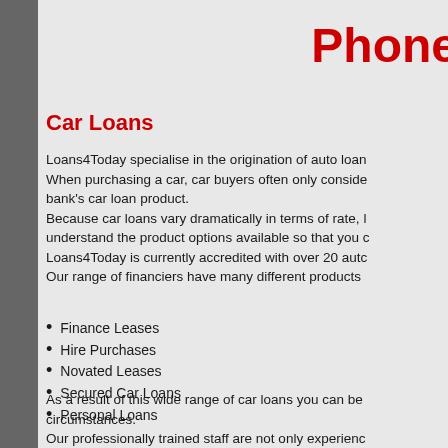Phone
Car Loans
Loans4Today specialise in the origination of auto loan. When purchasing a car, car buyers often only consider bank's car loan product. Because car loans vary dramatically in terms of rate, understand the product options available so that you o Loans4Today is currently accredited with over 20 auto Our range of financiers have many different products
Finance Leases
Hire Purchases
Novated Leases
Secured Car Loans
Personal Loans
As a result of this wide range of car loans you can be circumstances. Our professionally trained staff are not only experienc Whether you're purchasing your vehicle from a car de